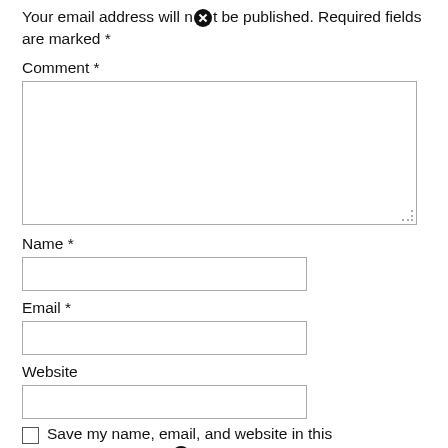Your email address will not be published. Required fields are marked *
Comment *
[Figure (screenshot): Comment textarea input field (empty)]
Name *
[Figure (screenshot): Name text input field (empty)]
Email *
[Figure (screenshot): Email text input field (empty)]
Website
[Figure (screenshot): Website text input field (empty)]
Save my name, email, and website in this browser for the next time I comment.